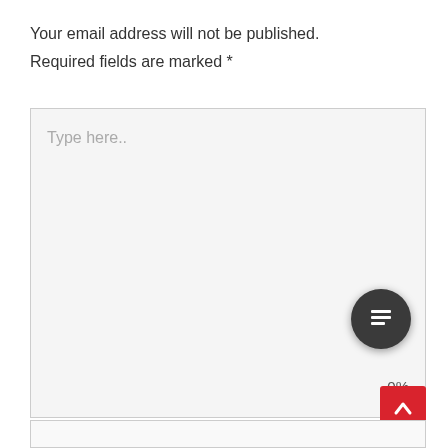Your email address will not be published. Required fields are marked *
[Figure (screenshot): Large textarea input box with placeholder text 'Type here..', a dark circular icon button with a document/list icon in the bottom-right area, a '0%' percentage label, a red square scroll-to-top arrow button, and a small input box at the bottom.]